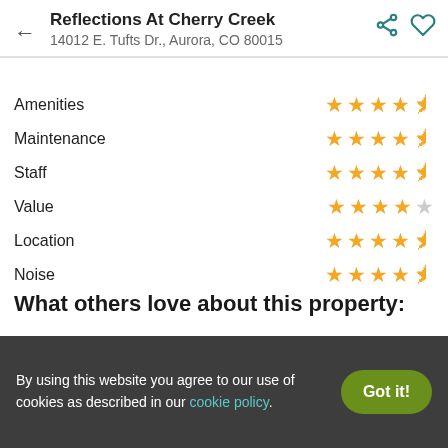Reflections At Cherry Creek
14012 E. Tufts Dr., Aurora, CO 80015
| Category | Rating |
| --- | --- |
| Amenities | 4.5/5 |
| Maintenance | 4.5/5 |
| Staff | 4.5/5 |
| Value | 4/5 |
| Location | 4.5/5 |
| Noise | 4.5/5 |
What others love about this property:
✓ Verified Resident
"Parking was great until a neighbor moved in and started a used
By using this website you agree to our use of cookies as described in our cookie policy.